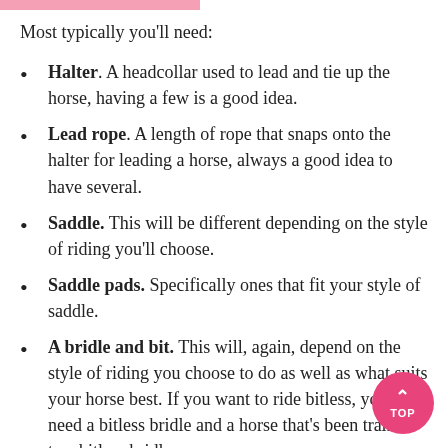Most typically you'll need:
Halter. A headcollar used to lead and tie up the horse, having a few is a good idea.
Lead rope. A length of rope that snaps onto the halter for leading a horse, always a good idea to have several.
Saddle. This will be different depending on the style of riding you'll choose.
Saddle pads. Specifically ones that fit your style of saddle.
A bridle and bit. This will, again, depend on the style of riding you choose to do as well as what suits your horse best. If you want to ride bitless, you'll need a bitless bridle and a horse that's been trained to a bitless bridle.
Blankets. If you plan on clipping your horse, you'll